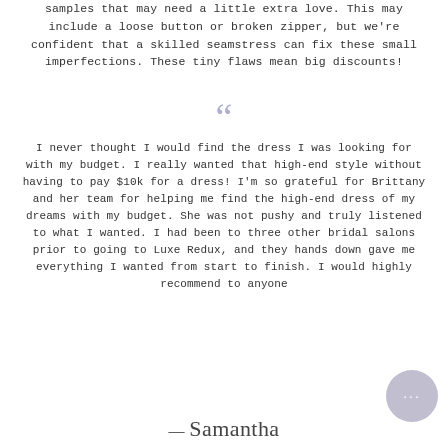samples that may need a little extra love. This may include a loose button or broken zipper, but we're confident that a skilled seamstress can fix these small imperfections. These tiny flaws mean big discounts!
I never thought I would find the dress I was looking for with my budget. I really wanted that high-end style without having to pay $10k for a dress! I'm so grateful for Brittany and her team for helping me find the high-end dress of my dreams with my budget. She was not pushy and truly listened to what I wanted. I had been to three other bridal salons prior to going to Luxe Redux, and they hands down gave me everything I wanted from start to finish. I would highly recommend to anyone
— Samantha